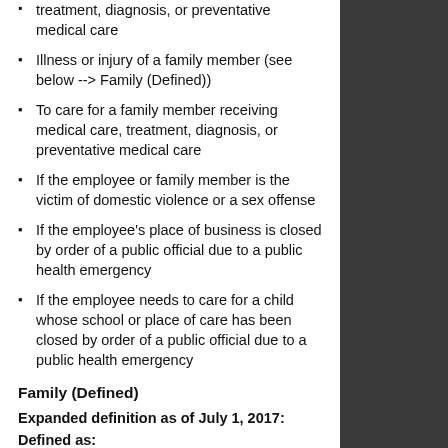treatment, diagnosis, or preventative medical care
Illness or injury of a family member (see below --> Family (Defined))
To care for a family member receiving medical care, treatment, diagnosis, or preventative medical care
If the employee or family member is the victim of domestic violence or a sex offense
If the employee's place of business is closed by order of a public official due to a public health emergency
If the employee needs to care for a child whose school or place of care has been closed by order of a public official due to a public health emergency
Family (Defined)
Expanded definition as of July 1, 2017:
Defined as:
The employee's child (biological, adopted, step or foster…child) or…